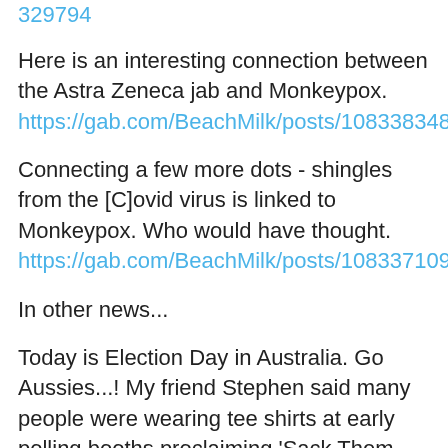329794
Here is an interesting connection between the Astra Zeneca jab and Monkeypox. https://gab.com/BeachMilk/posts/108338348205793466
Connecting a few more dots - shingles from the [C]ovid virus is linked to Monkeypox. Who would have thought. https://gab.com/BeachMilk/posts/108337109360108050
In other news...
Today is Election Day in Australia. Go Aussies...! My friend Stephen said many people were wearing tee shirts at early polling booths proclaiming 'Sack Them All!!...